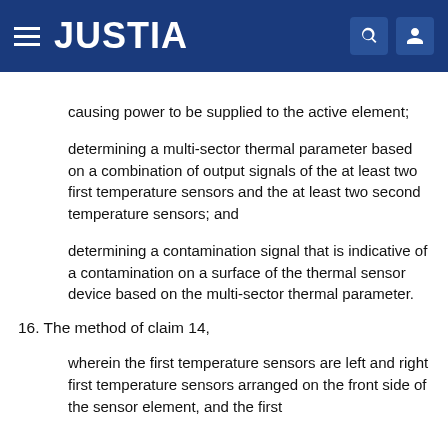JUSTIA
causing power to be supplied to the active element;
determining a multi-sector thermal parameter based on a combination of output signals of the at least two first temperature sensors and the at least two second temperature sensors; and
determining a contamination signal that is indicative of a contamination on a surface of the thermal sensor device based on the multi-sector thermal parameter.
16. The method of claim 14,
wherein the first temperature sensors are left and right first temperature sensors arranged on the front side of the sensor element, and the first